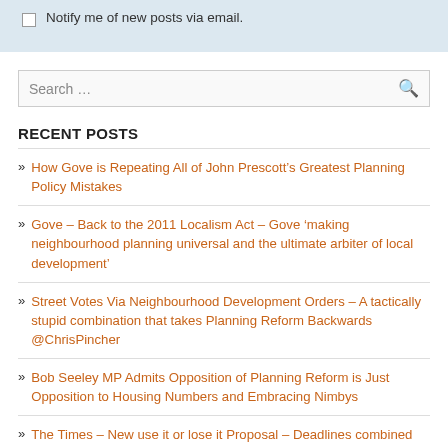Notify me of new posts via email.
Search …
RECENT POSTS
How Gove is Repeating All of John Prescott's Greatest Planning Policy Mistakes
Gove – Back to the 2011 Localism Act – Gove 'making neighbourhood planning universal and the ultimate arbiter of local development'
Street Votes Via Neighbourhood Development Orders – A tactically stupid combination that takes Planning Reform Backwards @ChrisPincher
Bob Seeley MP Admits Opposition of Planning Reform is Just Opposition to Housing Numbers and Embracing Nimbys
The Times – New use it or lose it Proposal – Deadlines combined with Loving…